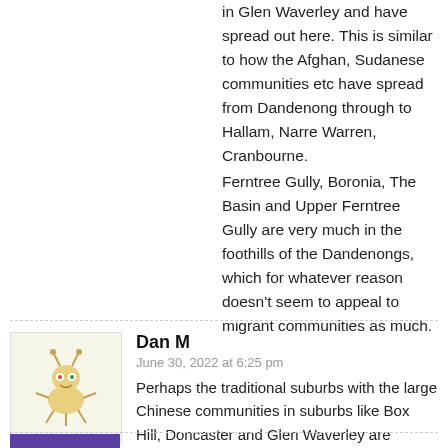in Glen Waverley and have spread out here. This is similar to how the Afghan, Sudanese communities etc have spread from Dandenong through to Hallam, Narre Warren, Cranbourne.
Ferntree Gully, Boronia, The Basin and Upper Ferntree Gully are very much in the foothills of the Dandenongs, which for whatever reason doesn't seem to appeal to migrant communities as much.
Dan M
June 30, 2022 at 6:25 pm
Perhaps the traditional suburbs with the large Chinese communities in suburbs like Box Hill, Doncaster and Glen Waverley are becoming increasingly too expensive and out of reach for many Chinese Australians so they instead flock to nearby suburbs like Wantirna South.